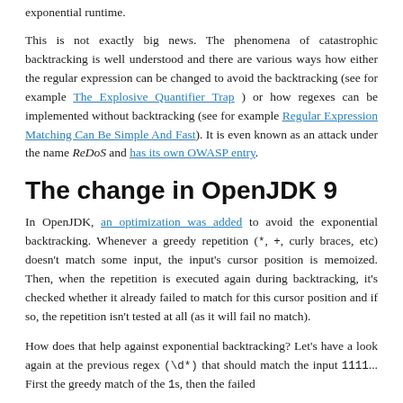exponential runtime.
This is not exactly big news. The phenomena of catastrophic backtracking is well understood and there are various ways how either the regular expression can be changed to avoid the backtracking (see for example The Explosive Quantifier Trap ) or how regexes can be implemented without backtracking (see for example Regular Expression Matching Can Be Simple And Fast). It is even known as an attack under the name ReDoS and has its own OWASP entry.
The change in OpenJDK 9
In OpenJDK, an optimization was added to avoid the exponential backtracking. Whenever a greedy repetition (*, +, curly braces, etc) doesn't match some input, the input's cursor position is memoized. Then, when the repetition is executed again during backtracking, it's checked whether it already failed to match for this cursor position and if so, the repetition isn't tested at all (as it will fail no match).
How does that help against exponential backtracking? Let's have a look again at the previous regex (\d*) that should match the input 1111... First the greedy match of the 1s, then the failed